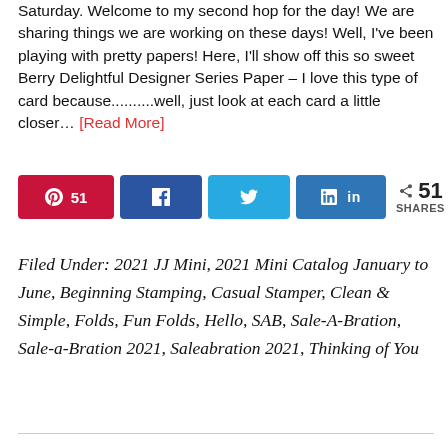Saturday. Welcome to my second hop for the day! We are sharing things we are working on these days! Well, I've been playing with pretty papers!  Here, I'll show off this so sweet Berry Delightful Designer Series Paper – I love this type of card because..........well, just look at each card a little closer... [Read More]
[Figure (infographic): Social share buttons: Pinterest (51), Facebook share, Twitter share, LinkedIn share, and total 51 SHARES counter]
Filed Under: 2021 JJ Mini, 2021 Mini Catalog January to June, Beginning Stamping, Casual Stamper, Clean & Simple, Folds, Fun Folds, Hello, SAB, Sale-A-Bration, Sale-a-Bration 2021, Saleabration 2021, Thinking of You